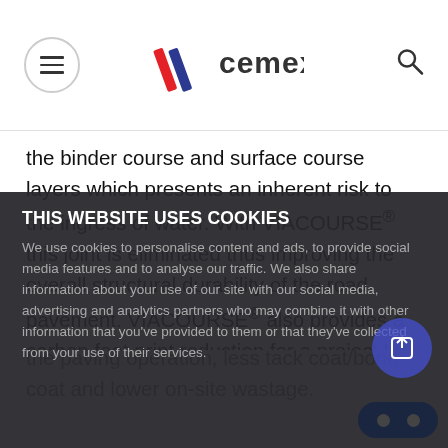CEMEX
the binder course and surface course layers which presents an inherent risk to the ingress of water. With VIACOURSE® this joint is eliminated thus improving the overall structural durability of the road pavement. VIACOURSE® also provides a carbon foot print reduction for a project by requiring less fuel use during the paving operation, less tack coat/bond coat and lower on-site wastage.
THIS WEBSITE USES COOKIES
We use cookies to personalise content and ads, to provide social media features and to analyse our traffic. We also share information about your use of our site with our social media, advertising and analytics partners who may combine it with other information that you've provided to them or that they've collected from your use of their services.